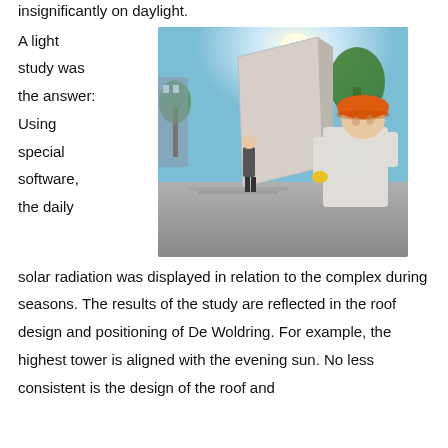insignificantly on daylight.
[Figure (photo): Construction workers handling a large concrete or panel element on a sunny day, with trees and buildings in background. One worker in foreground wears an orange hard hat.]
A light study was the answer: Using special software, the daily solar radiation was displayed in relation to the complex during seasons. The results of the study are reflected in the roof design and positioning of De Woldring. For example, the highest tower is aligned with the evening sun. No less consistent is the design of the roof and